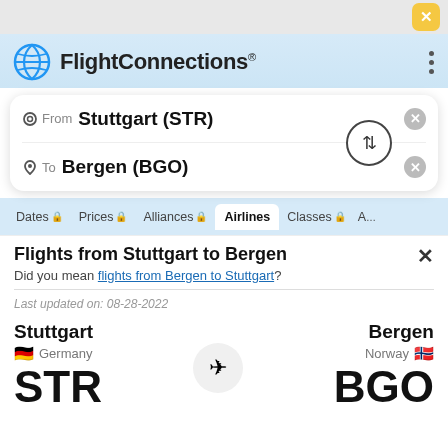[Figure (screenshot): FlightConnections app header with globe logo]
From  Stuttgart (STR)
To  Bergen (BGO)
Dates  Prices  Alliances  Airlines  Classes
Flights from Stuttgart to Bergen
Did you mean flights from Bergen to Stuttgart?
Last updated on: 08-28-2022
Stuttgart
Germany
STR
Bergen
Norway
BGO